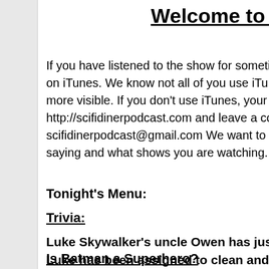Welcome to th
If you have listened to the show for sometime, we on iTunes. We know not all of you use iTunes, bu more visible. If you don't use iTunes, your feedba http://scifidinerpodcast.com and leave a commen scifidinerpodcast@gmail.com We want to know w saying and what shows you are watching.
Tonight's Menu:
Trivia:
Luke Skywalker's uncle Owen has just purcha Luke has been assigned to clean and maintain R2-D2, Luke discovers that his 'little friend' is by a beautiful holographic woman. When Luke woman, does C-3PO specifically identify her?
Is Batman a Superhero?